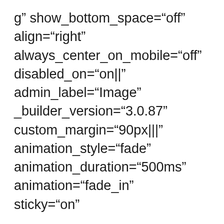g" show_bottom_space="off" align="right" always_center_on_mobile="off" disabled_on="on||" admin_label="Image" _builder_version="3.0.87" custom_margin="90px|||" animation_style="fade" animation_duration="500ms" animation="fade_in" sticky="on"